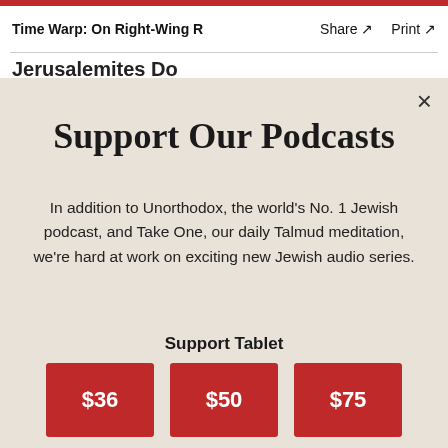Time Warp: On Right-Wing R  Share ↗  Print ↗
Jerusalemites Do
Support Our Podcasts
In addition to Unorthodox, the world's No. 1 Jewish podcast, and Take One, our daily Talmud meditation, we're hard at work on exciting new Jewish audio series.
Support Tablet
$36
$50
$75